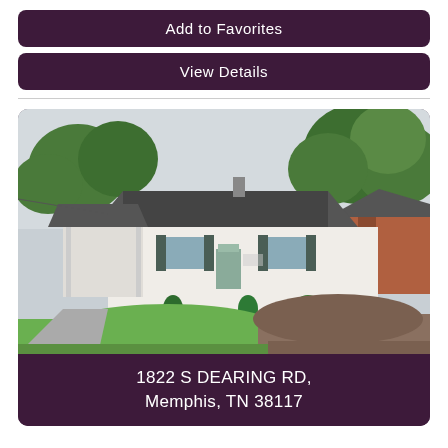Add to Favorites
View Details
[Figure (photo): Exterior photo of a single-story white ranch-style house with a gray roof, carport on the left, green shutters, and a front lawn. Green trees visible in the background and a brick house partially visible on the right.]
1822 S DEARING RD, Memphis, TN 38117